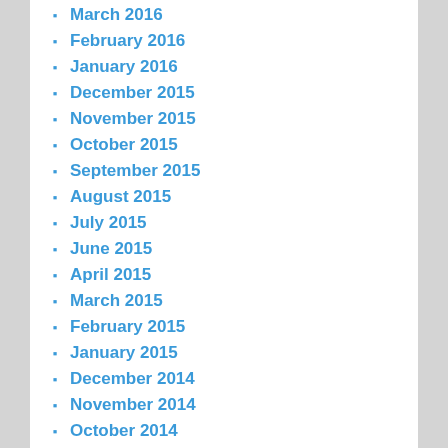March 2016
February 2016
January 2016
December 2015
November 2015
October 2015
September 2015
August 2015
July 2015
June 2015
April 2015
March 2015
February 2015
January 2015
December 2014
November 2014
October 2014
September 2014
August 2014
July 2014
June 2014
May 2014